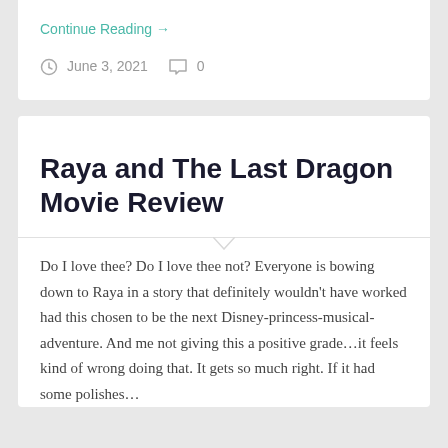Continue Reading →
June 3, 2021   0
Raya and The Last Dragon Movie Review
Do I love thee? Do I love thee not? Everyone is bowing down to Raya in a story that definitely wouldn't have worked had this chosen to be the next Disney-princess-musical-adventure. And me not giving this a positive grade…it feels kind of wrong doing that. It gets so much right. If it had some polishes…